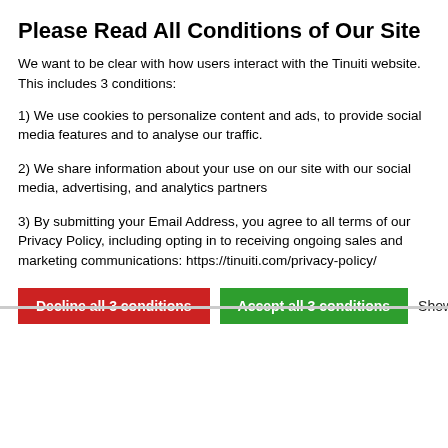Please Read All Conditions of Our Site
We want to be clear with how users interact with the Tinuiti website. This includes 3 conditions:
1) We use cookies to personalize content and ads, to provide social media features and to analyse our traffic.
2) We share information about your use on our site with our social media, advertising, and analytics partners
3) By submitting your Email Address, you agree to all terms of our Privacy Policy, including opting in to receiving ongoing sales and marketing communications: https://tinuiti.com/privacy-policy/
than Amazon Product Ads. With no minimum CPC bid and powerful search campaign management tools Google Shopping merchants were able to hold onto profits at a higher rate in 2012.
Resources on Amazon Marketing Services:
Share This